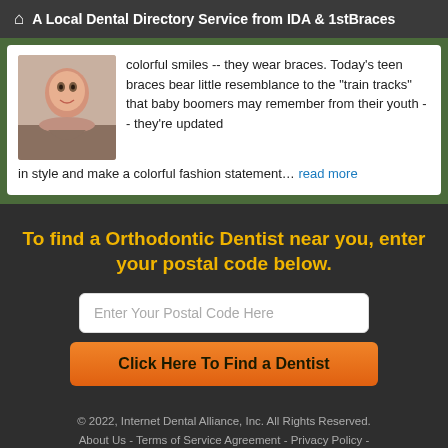A Local Dental Directory Service from IDA & 1stBraces
colorful smiles -- they wear braces. Today's teen braces bear little resemblance to the "train tracks" that baby boomers may remember from their youth -- they're updated in style and make a colorful fashion statement… read more
To find a Orthodontic Dentist near you, enter your postal code below.
Enter Your Postal Code Here
Click Here To Find a Dentist
© 2022, Internet Dental Alliance, Inc. All Rights Reserved. About Us - Terms of Service Agreement - Privacy Policy -